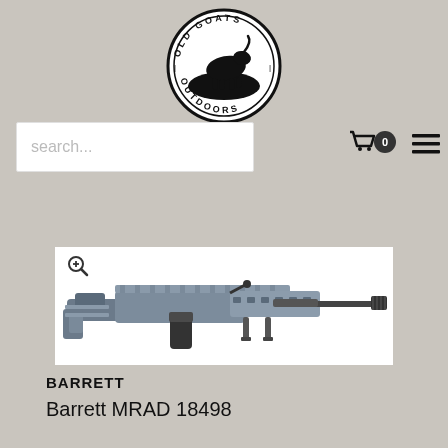[Figure (logo): Old Goats Outdoors circular logo with a mountain goat silhouette and text around the perimeter]
[Figure (other): Search bar input field with placeholder text 'search...' and navigation icons (cart with 0 badge, hamburger menu) on the right]
[Figure (photo): Barrett MRAD precision bolt-action rifle in gray/black finish on white background, with zoom icon in upper left]
BARRETT
Barrett MRAD 18498